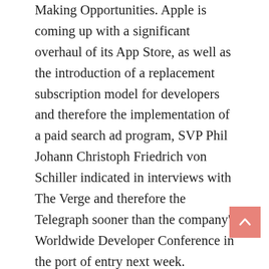Making Opportunities. Apple is coming up with a significant overhaul of its App Store, as well as the introduction of a replacement subscription model for developers and therefore the implementation of a paid search ad program, SVP Phil Johann Christoph Friedrich von Schiller indicated in interviews with The Verge and therefore the Telegraph sooner than the company's Worldwide Developer Conference in the port of entry next week.